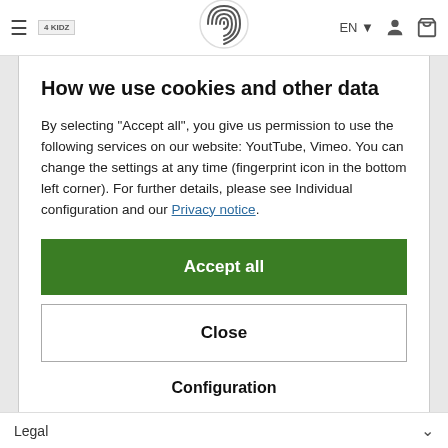≡  4 KIDZ  [fingerprint icon]  EN ▾  [user icon]  [cart icon]
How we use cookies and other data
By selecting "Accept all", you give us permission to use the following services on our website: YoutTube, Vimeo. You can change the settings at any time (fingerprint icon in the bottom left corner). For further details, please see Individual configuration and our Privacy notice.
Accept all
Close
Configuration
Legal  ▾